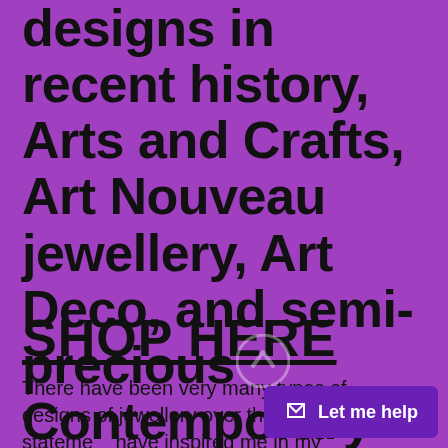designs in recent history, Arts and Crafts, Art Nouveau jewellery, Art Deco, and semi-precious Contemporary jewellery designs
SHOP HERE
There have been very many types of designs of jewellery over the years, stateme... have inspired me in my designs...